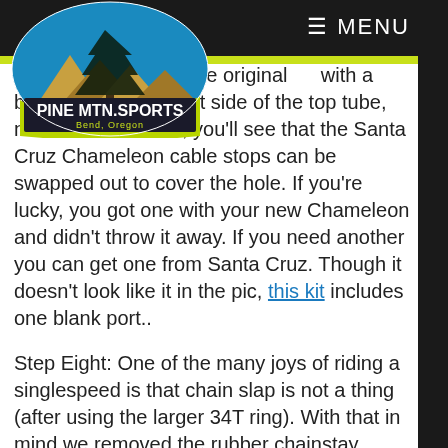[Figure (logo): Pine Mtn Sports logo — oval shape with blue sky, mountains, tree silhouette, yellow-green bottom. Text: PINE MTN.SPORTS, Bend, Oregon]
☰ MENU
frame, we replaced the original with a blank port. On the left side of the top tube, near the head tube, you'll see that the Santa Cruz Chameleon cable stops can be swapped out to cover the hole. If you're lucky, you got one with your new Chameleon and didn't throw it away. If you need another you can get one from Santa Cruz. Though it doesn't look like it in the pic, this kit includes one blank port..
Step Eight: One of the many joys of riding a singlespeed is that chain slap is not a thing (after using the larger 34T ring). With that in mind we removed the rubber chainstay protector from our